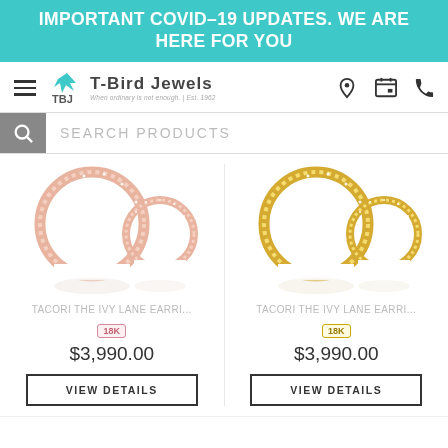IMPORTANT COVID-19 UPDATES. WE ARE HERE FOR YOU
[Figure (logo): T-Bird Jewels logo with hamburger menu, bird icon, brand name, and navigation icons (location, calendar, phone)]
SEARCH PRODUCTS
[Figure (photo): Two rose gold hoop earrings with diamond accents - Tacori The Ivy Lane collection]
[Figure (photo): Two yellow gold hoop earrings with diamond accents - Tacori The Ivy Lane collection]
TACORI THE IVY LANE EARRI...
18K
$3,990.00
VIEW DETAILS
TACORI THE IVY LANE EARRI...
18K
$3,990.00
VIEW DETAILS